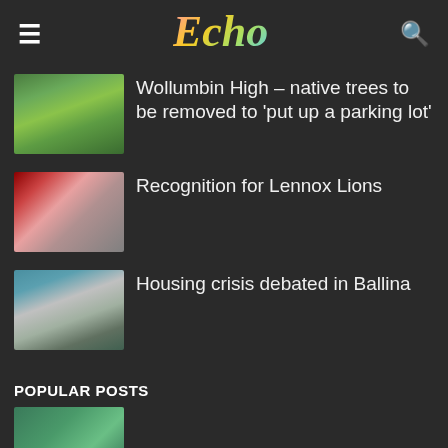Echo
Wollumbin High – native trees to be removed to 'put up a parking lot'
Recognition for Lennox Lions
Housing crisis debated in Ballina
POPULAR POSTS